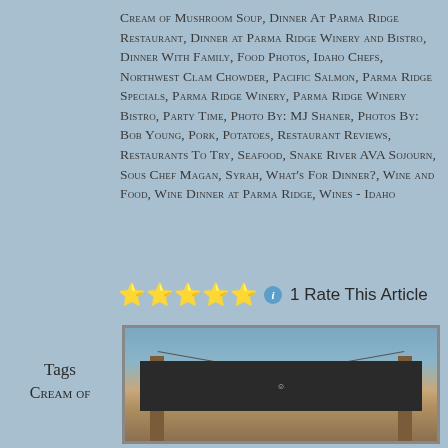Cream of Mushroom Soup, Dinner At Parma Ridge Restaurant, Dinner at Parma Ridge Winery and Bistro, Dinner With Family, Food Photos, Idaho Chefs, Northwest Clam Chowder, Pacific Salmon, Parma Ridge Specials, Parma Ridge Winery, Parma Ridge Winery Bistro, Party Time, Photo By: MJ Shaner, Photos By: Bob Young, Pork, Potatoes, Restaurant Reviews, Restaurants To Try, Seafood, Snake River AVA Sojourn, Sous Chef Magan, Syrah, What's For Dinner?, Wine and Food, Wine Dinner at Parma Ridge, Wines - Idaho
⭐⭐⭐⭐⭐ ℹ 1 Rate This Article
Tags
Cream of
[Figure (photo): Outdoor sign on wooden posts with wires, showing a dark sign board, photographed against a light blue sky background.]